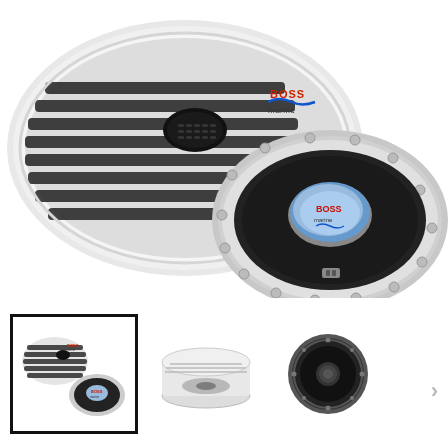[Figure (photo): Boss Marine oval speaker product shot showing two views: front view with white oval grille with horizontal black vents and Boss Marine logo, and rear/cone view showing the speaker cone with Boss Marine branded center cap in blue/gray with red lettering, white oval frame with mounting screws around the perimeter.]
[Figure (photo): Thumbnail 1 (selected, with black border): Boss Marine oval speakers pair showing front grille view and rear cone view together.]
[Figure (photo): Thumbnail 2: Side/profile view of the white oval marine speaker showing the shallow depth and mounting lip.]
[Figure (photo): Thumbnail 3: Front view of a round coaxial speaker cone in black, showing the speaker without grille.]